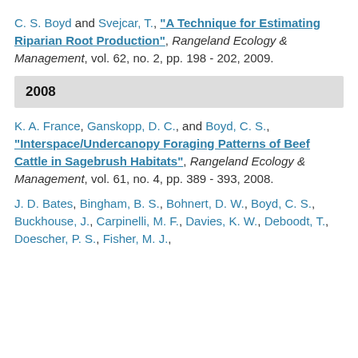C. S. Boyd and Svejcar, T., "A Technique for Estimating Riparian Root Production", Rangeland Ecology & Management, vol. 62, no. 2, pp. 198 - 202, 2009.
2008
K. A. France, Ganskopp, D. C., and Boyd, C. S., "Interspace/Undercanopy Foraging Patterns of Beef Cattle in Sagebrush Habitats", Rangeland Ecology & Management, vol. 61, no. 4, pp. 389 - 393, 2008.
J. D. Bates, Bingham, B. S., Bohnert, D. W., Boyd, C. S., Buckhouse, J., Carpinelli, M. F., Davies, K. W., Deboodt, T., Doescher, P. S., Fisher, M. J., ...